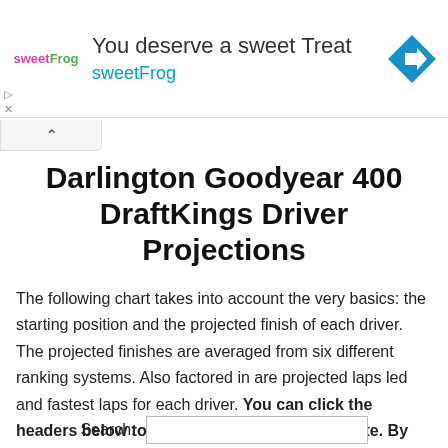[Figure (infographic): sweetFrog advertisement banner with logo, headline 'You deserve a sweet Treat', subheadline 'sweetFrog', and a blue diamond navigation icon on the right.]
Darlington Goodyear 400 DraftKings Driver Projections
The following chart takes into account the very basics: the starting position and the projected finish of each driver. The projected finishes are averaged from six different ranking systems. Also factored in are projected laps led and fastest laps for each driver. You can click the headers below to sort the chart by that attribute. By default, it is sorted by average projected FPTS.